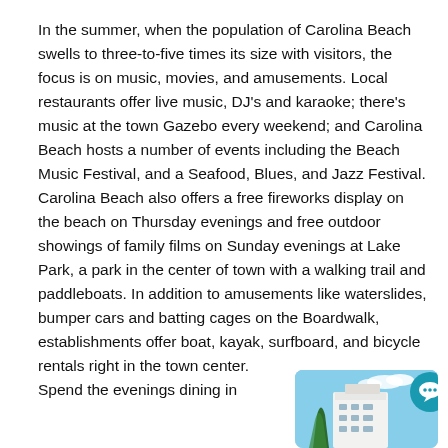In the summer, when the population of Carolina Beach swells to three-to-five times its size with visitors, the focus is on music, movies, and amusements. Local restaurants offer live music, DJ's and karaoke; there's music at the town Gazebo every weekend; and Carolina Beach hosts a number of events including the Beach Music Festival, and a Seafood, Blues, and Jazz Festival. Carolina Beach also offers a free fireworks display on the beach on Thursday evenings and free outdoor showings of family films on Sunday evenings at Lake Park, a park in the center of town with a walking trail and paddleboats. In addition to amusements like waterslides, bumper cars and batting cages on the Boardwalk, establishments offer boat, kayak, surfboard, and bicycle rentals right in the town center.
Spend the evenings dining in
[Figure (photo): Photo of a white building with blue sky and trees, with a teal chat bubble icon overlay in the top right corner.]